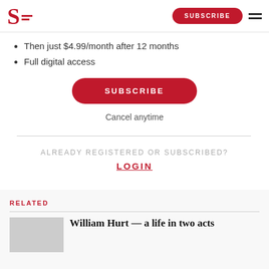S SUBSCRIBE
Then just $4.99/month after 12 months
Full digital access
SUBSCRIBE
Cancel anytime
ALREADY REGISTERED OR SUBSCRIBED?
LOGIN
RELATED
William Hurt — a life in two acts